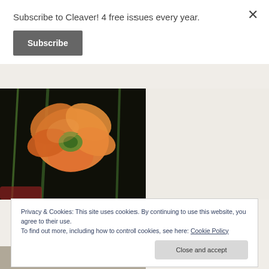Subscribe to Cleaver! 4 free issues every year.
Subscribe
[Figure (photo): Orange poppy flower against a dark background, partially cropped]
WIN ME SOMETHING by Kyle Lucia Wu Tin House, 272 pages reviewed by Annie Cao In Win Me Something, Kyle Lucia Wu's enthralling debut novel, Willa Chen is a biracial Chinese-American girl who starts a ... Read More
August 18, 2022
Privacy & Cookies: This site uses cookies. By continuing to use this website, you agree to their use.
To find out more, including how to control cookies, see here: Cookie Policy
Close and accept